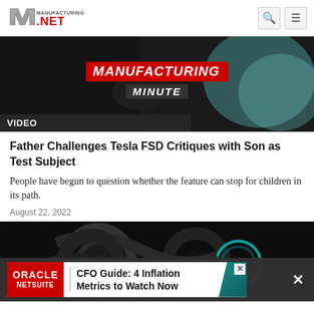Manufacturing.net
[Figure (screenshot): Manufacturing Minute video thumbnail with red MANUFACTURING banner and dark MINUTE banner over a dark background image of a person, with VIDEO label bar at bottom left]
Father Challenges Tesla FSD Critiques with Son as Test Subject
People have begun to question whether the feature can stop for children in its path.
August 22, 2022
[Figure (photo): Dark close-up image of mechanical/automotive components with teal circular element, likely an electric vehicle motor or wheel hub]
ORACLE NETSUITE | CFO Guide: 4 Inflation Metrics to Watch Now